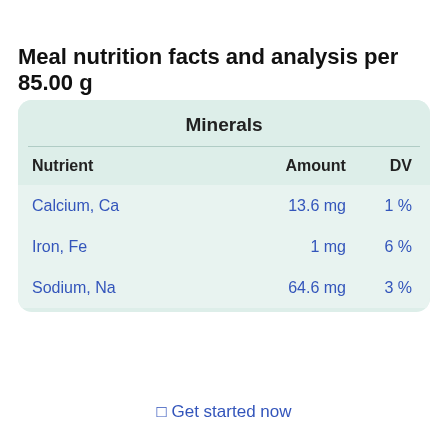Meal nutrition facts and analysis per 85.00 g
| Nutrient | Amount | DV |
| --- | --- | --- |
| Calcium, Ca | 13.6 mg | 1 % |
| Iron, Fe | 1 mg | 6 % |
| Sodium, Na | 64.6 mg | 3 % |
⬜ Get started now